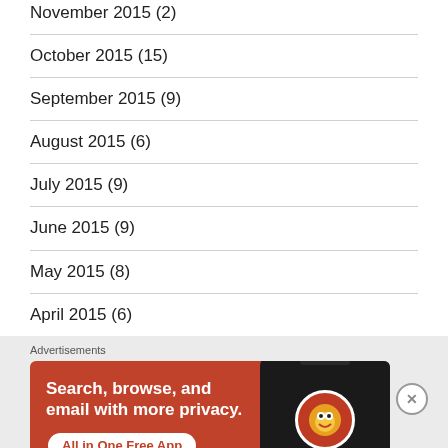November 2015 (2)
October 2015 (15)
September 2015 (9)
August 2015 (6)
July 2015 (9)
June 2015 (9)
May 2015 (8)
April 2015 (6)
Advertisements
[Figure (screenshot): DuckDuckGo advertisement banner: orange/red background with text 'Search, browse, and email with more privacy. All in One Free App' and a phone showing the DuckDuckGo app icon. Close button (X) in corner.]